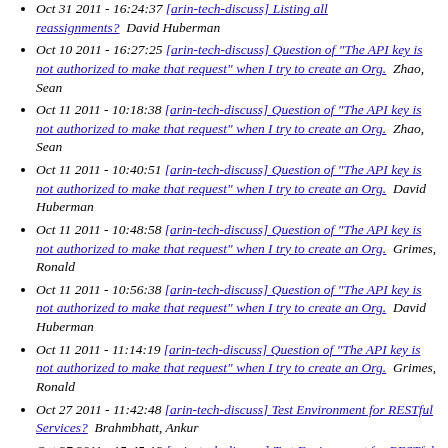Oct 31 2011 - 16:24:37 [arin-tech-discuss] Listing all reassignments?   David Huberman
Oct 10 2011 - 16:27:25 [arin-tech-discuss] Question of "The API key is not authorized to make that request" when I try to create an Org.   Zhao, Sean
Oct 11 2011 - 10:18:38 [arin-tech-discuss] Question of "The API key is not authorized to make that request" when I try to create an Org.   Zhao, Sean
Oct 11 2011 - 10:40:51 [arin-tech-discuss] Question of "The API key is not authorized to make that request" when I try to create an Org.   David Huberman
Oct 11 2011 - 10:48:58 [arin-tech-discuss] Question of "The API key is not authorized to make that request" when I try to create an Org.   Grimes, Ronald
Oct 11 2011 - 10:56:38 [arin-tech-discuss] Question of "The API key is not authorized to make that request" when I try to create an Org.   David Huberman
Oct 11 2011 - 11:14:19 [arin-tech-discuss] Question of "The API key is not authorized to make that request" when I try to create an Org.   Grimes, Ronald
Oct 27 2011 - 11:42:48 [arin-tech-discuss] Test Environment for RESTful Services?   Brahmbhatt, Ankur
Oct 27 2011 - 15:45:12 [arin-tech-discuss] Test Environment for RESTful Services?   David Huberman
Last message date: Mon Oct 31 16:24:27 EDT 2011